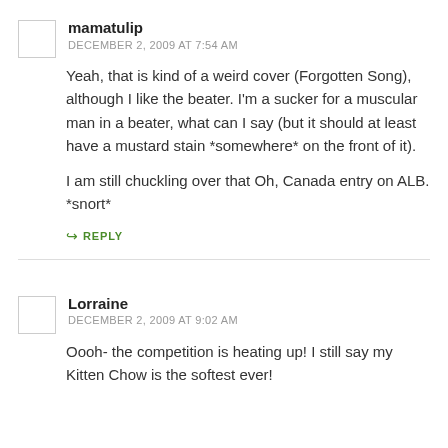mamatulip
DECEMBER 2, 2009 AT 7:54 AM
Yeah, that is kind of a weird cover (Forgotten Song), although I like the beater. I'm a sucker for a muscular man in a beater, what can I say (but it should at least have a mustard stain *somewhere* on the front of it).

I am still chuckling over that Oh, Canada entry on ALB. *snort*
REPLY
Lorraine
DECEMBER 2, 2009 AT 9:02 AM
Oooh- the competition is heating up! I still say my Kitten Chow is the softest ever!